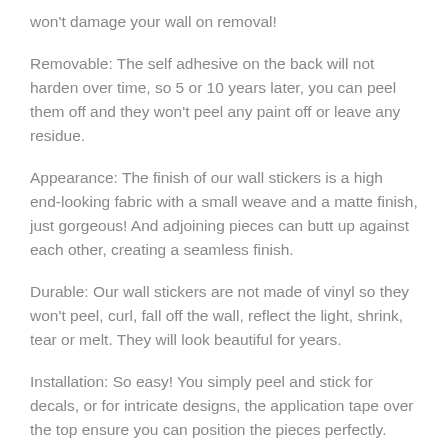won't damage your wall on removal!
Removable: The self adhesive on the back will not harden over time, so 5 or 10 years later, you can peel them off and they won't peel any paint off or leave any residue.
Appearance: The finish of our wall stickers is a high end-looking fabric with a small weave and a matte finish, just gorgeous! And adjoining pieces can butt up against each other, creating a seamless finish.
Durable: Our wall stickers are not made of vinyl so they won't peel, curl, fall off the wall, reflect the light, shrink, tear or melt. They will look beautiful for years.
Installation: So easy! You simply peel and stick for decals, or for intricate designs, the application tape over the top ensure you can position the pieces perfectly. Instructions are included, or you can call us if you have any difficulty. Repositionable the pieces easily,